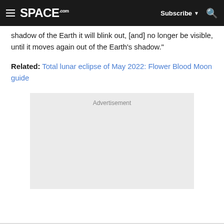SPACE.com — Subscribe — Search
shadow of the Earth it will blink out, [and] no longer be visible, until it moves again out of the Earth's shadow."
Related: Total lunar eclipse of May 2022: Flower Blood Moon guide
[Figure (other): Advertisement placeholder box with light gray background and 'Advertisement' label at top center]